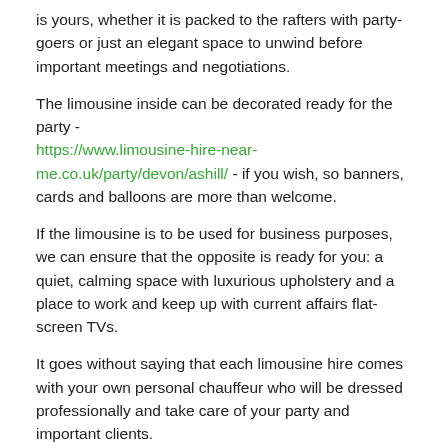is yours, whether it is packed to the rafters with party-goers or just an elegant space to unwind before important meetings and negotiations.
The limousine inside can be decorated ready for the party - https://www.limousine-hire-near-me.co.uk/party/devon/ashill/ - if you wish, so banners, cards and balloons are more than welcome.
If the limousine is to be used for business purposes, we can ensure that the opposite is ready for you: a quiet, calming space with luxurious upholstery and a place to work and keep up with current affairs flat-screen TVs.
It goes without saying that each limousine hire comes with your own personal chauffeur who will be dressed professionally and take care of your party and important clients.
Rent a Limo
Renting a limo is as easy as 1, 2, 3;
Choose which vehicle you would like to rent
Decide how long you need it for and where it is going from